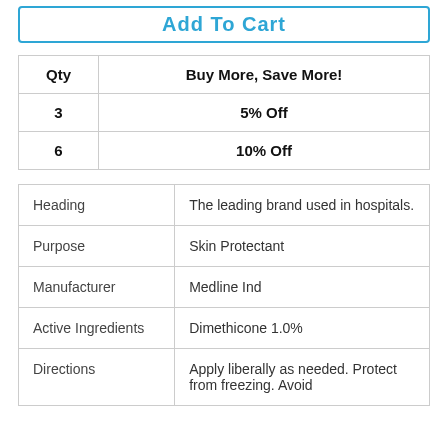[Figure (other): Add To Cart button with blue border and blue text]
| Qty | Buy More, Save More! |
| --- | --- |
| 3 | 5% Off |
| 6 | 10% Off |
| Heading | The leading brand used in hospitals. |
| Purpose | Skin Protectant |
| Manufacturer | Medline Ind |
| Active Ingredients | Dimethicone 1.0% |
| Directions | Apply liberally as needed. Protect from freezing. Avoid |